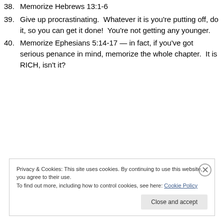38. Memorize Hebrews 13:1-6
39. Give up procrastinating.  Whatever it is you're putting off, do it, so you can get it done!  You're not getting any younger.
40. Memorize Ephesians 5:14-17 — in fact, if you've got serious penance in mind, memorize the whole chapter.  It is RICH, isn't it?
Privacy & Cookies: This site uses cookies. By continuing to use this website, you agree to their use.
To find out more, including how to control cookies, see here: Cookie Policy